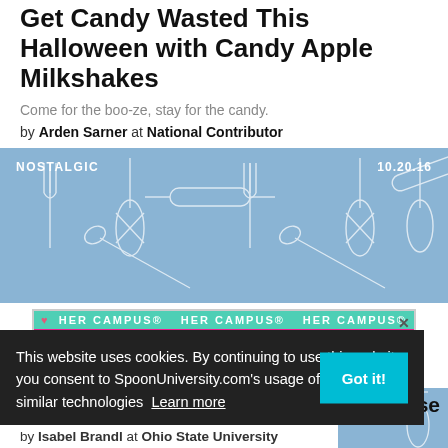Get Candy Wasted This Halloween with Candy Apple Milkshakes
Come for the boo-ze, stay for the candy.
by Arden Sarner at National Contributor
[Figure (illustration): Blue background with white outline kitchen utensils (forks, whisks, spoons, rolling pins). Label NOSTALGIC top-left, date 10.20.16 top-right.]
[Figure (screenshot): Her Campus advertisement banner: teal top bar with HER CAMPUS repeated, pink main bar with BECOME A LEADER IN EDITORIAL text, close X button.]
This website uses cookies. By continuing to use this website, you consent to SpoonUniversity.com's usage of cookies and similar technologies Learn more
Made These
by Isabel Brandl at Ohio State University